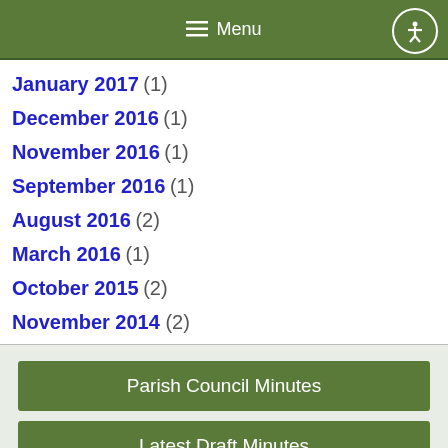Menu
January 2017 (1)
December 2016 (1)
November 2016 (1)
September 2016 (1)
August 2016 (2)
March 2016 (1)
October 2015 (2)
November 2014 (2)
Parish Council Minutes
Latest Draft Minutes